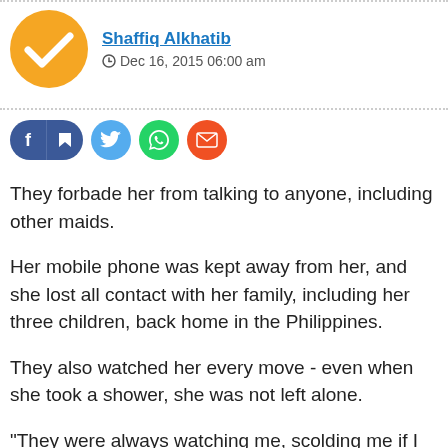[Figure (illustration): Orange circular avatar with white checkmark]
Shaffiq Alkhatib
⊙ Dec 16, 2015 06:00 am
[Figure (illustration): Social media share buttons: Facebook (with f and bookmark icons), Twitter, WhatsApp, Email]
They forbade her from talking to anyone, including other maids.
Her mobile phone was kept away from her, and she lost all contact with her family, including her three children, back home in the Philippines.
They also watched her every move - even when she took a shower, she was not left alone.
"They were always watching me, scolding me if I made mistakes